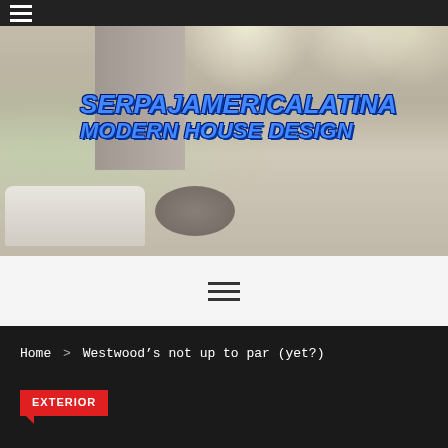≡ (hamburger menu icon)
[Figure (photo): Interior photo of a modern luxury living room with white sectional sofa, round wood coffee table, recessed lighting, glass walls, and staircase in the background. Overlaid text reads SERPAJAMERICALATINA MODERN HOUSE DESIGN in bold italic blue block letters.]
SERPAJAMERICALATINA MODERN HOUSE DESIGN
≡ (hamburger menu icon, centered)
Home > Westwood's not up to par (yet?)
EXTERIOR